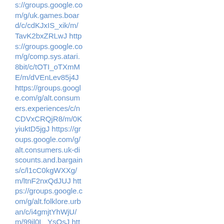s://groups.google.com/g/uk.games.board/c/cdKJxIS_xik/m/TavK2bxZRLwJ https://groups.google.com/g/comp.sys.atari.8bit/c/tOTI_oTXmME/m/dVEnLev85j4J https://groups.google.com/g/alt.consumers.experiences/c/nCDVxCRQjR8/m/0KyiuktD5jgJ https://groups.google.com/g/alt.consumers.uk-discounts.and.bargains/c/l1cC0kgWXXg/m/ltnF2nxQdJUJ https://groups.google.com/g/alt.folklore.urban/c/i4gmjtYhWjU/m/99il0L_YsOsJ https://groups.google.com/g/comp.soft-sys.matlab/c/FSEq_1bj0F0/m/Pf24odwRFy4J https://groups.google.com/g/comp.peripherals.printers/c/29hld